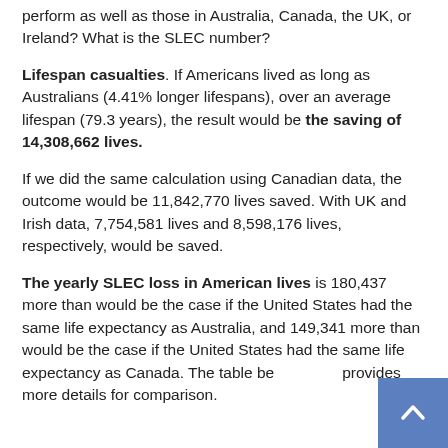perform as well as those in Australia, Canada, the UK, or Ireland? What is the SLEC number?
Lifespan casualties. If Americans lived as long as Australians (4.41% longer lifespans), over an average lifespan (79.3 years), the result would be the saving of 14,308,662 lives.
If we did the same calculation using Canadian data, the outcome would be 11,842,770 lives saved. With UK and Irish data, 7,754,581 lives and 8,598,176 lives, respectively, would be saved.
The yearly SLEC loss in American lives is 180,437 more than would be the case if the United States had the same life expectancy as Australia, and 149,341 more than would be the case if the United States had the same life expectancy as Canada. The table below provides more details for comparison.